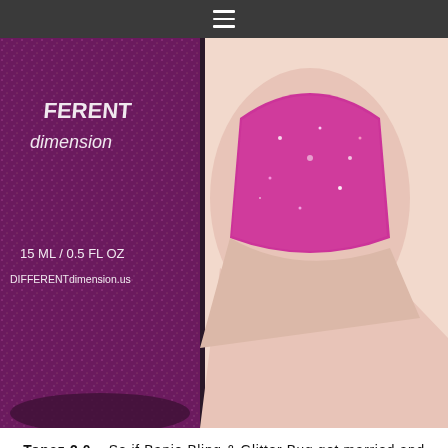≡
[Figure (photo): Close-up photo of a pink glittery nail polish bottle labeled 'Different Dimension' with text '15 ML / 0.5 FL OZ' and 'DIFFERENTdimension.us', next to a hand with a nail painted in the same sparkly pink/rose shade.]
Topaz 2.0 – So if Banjo Bling & Glitter Bug got married and had a baby, they would produce Topaz 2.0. The rose gold in this shade is beautiful! Fully opaque in two coats.
[Figure (photo): Close-up photo of a hand with nails painted in a rose gold glitter nail polish shade.]